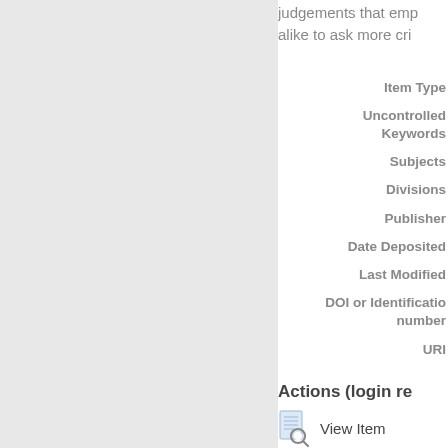judgements that emp... alike to ask more cri...
| Item Type |
| Uncontrolled Keywords |
| Subjects |
| Divisions |
| Publisher |
| Date Deposited |
| Last Modified |
| DOI or Identification number |
| URI |
Actions (login re...
View Item